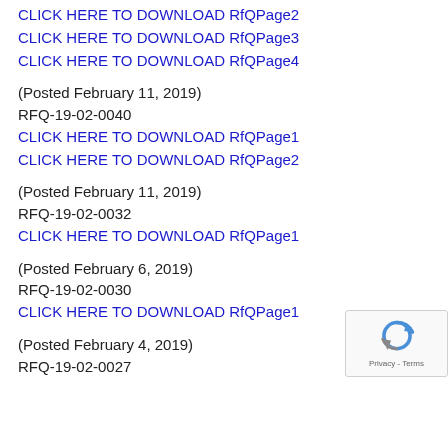CLICK HERE TO DOWNLOAD RfQPage2
CLICK HERE TO DOWNLOAD RfQPage3
CLICK HERE TO DOWNLOAD RfQPage4
(Posted February 11, 2019)
RFQ-19-02-0040
CLICK HERE TO DOWNLOAD RfQPage1
CLICK HERE TO DOWNLOAD RfQPage2
(Posted February 11, 2019)
RFQ-19-02-0032
CLICK HERE TO DOWNLOAD RfQPage1
(Posted February 6, 2019)
RFQ-19-02-0030
CLICK HERE TO DOWNLOAD RfQPage1
(Posted February 4, 2019)
RFQ-19-02-0027